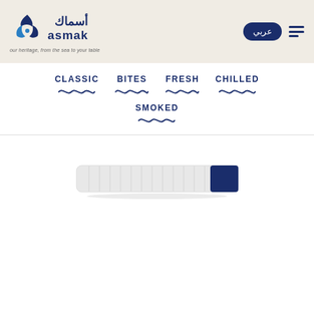[Figure (logo): Asmak brand logo with Arabic text أسماك and English text 'asmak', with tagline 'our heritage, from the sea to your table']
عربي
CLASSIC
BITES
FRESH
CHILLED
SMOKED
[Figure (photo): A packaged fish product in a white elongated tray/pouch with blue label on the right end, shown from above on white background]